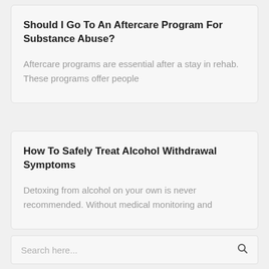Should I Go To An Aftercare Program For Substance Abuse?
Aftercare programs are essential after a stay in rehab. These programs offer people
How To Safely Treat Alcohol Withdrawal Symptoms
Detoxing from alcohol on your own is never recommended. Without medical monitoring and